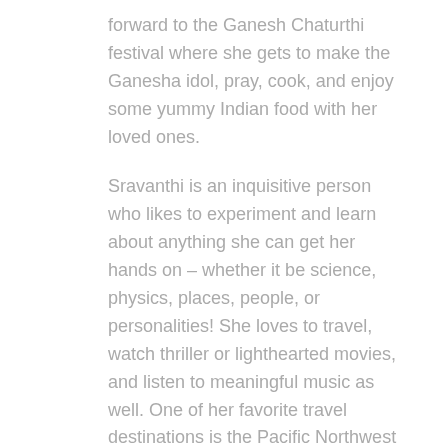forward to the Ganesh Chaturthi festival where she gets to make the Ganesha idol, pray, cook, and enjoy some yummy Indian food with her loved ones.
Sravanthi is an inquisitive person who likes to experiment and learn about anything she can get her hands on – whether it be science, physics, places, people, or personalities! She loves to travel, watch thriller or lighthearted movies, and listen to meaningful music as well. One of her favorite travel destinations is the Pacific Northwest (USA), but her favorite place in the world will always be where her family is.